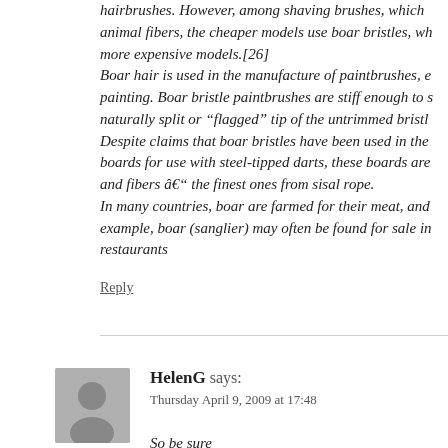hairbrushes. However, among shaving brushes, which animal fibers, the cheaper models use boar bristles, wh more expensive models.[26] Boar hair is used in the manufacture of paintbrushes, e painting. Boar bristle paintbrushes are stiff enough to s naturally split or "flagged" tip of the untrimmed bristl Despite claims that boar bristles have been used in the boards for use with steel-tipped darts, these boards are and fibers â€" the finest ones from sisal rope. In many countries, boar are farmed for their meat, and example, boar (sanglier) may often be found for sale in restaurants
Reply
HelenG says: Thursday April 9, 2009 at 17:48
So be sure comes to the governance of all our injured...